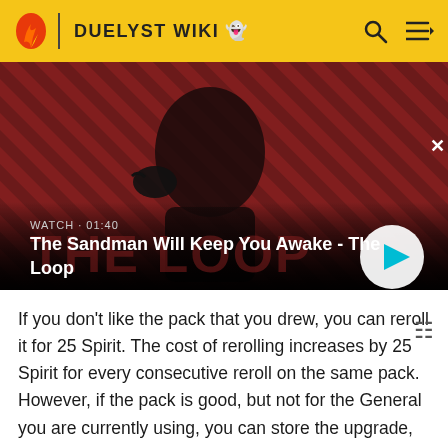DUELYST WIKI
[Figure (screenshot): Video banner showing a dark-cloaked figure with a raven, on a red diagonal-striped background. Text overlay: WATCH · 01:40 / The Sandman Will Keep You Awake - The Loop. Play button on the right.]
If you don't like the pack that you drew, you can reroll it for 25 Spirit. The cost of rerolling increases by 25 Spirit for every consecutive reroll on the same pack. However, if the pack is good, but not for the General you are currently using, you can store the upgrade, allowing it to